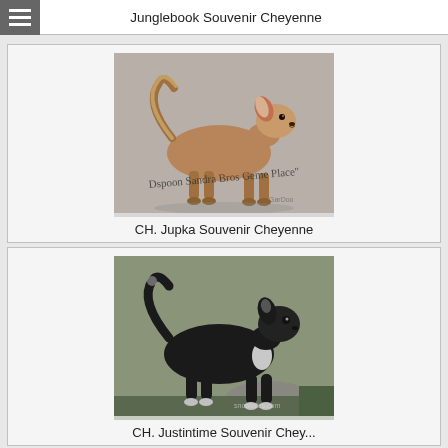Junglebook Souvenir Cheyenne
[Figure (photo): A tan/sable long-haired Chihuahua dog standing in profile view on a grey surface, with a curled tail. Watermark text overlay on image.]
CH. Jupka Souvenir Cheyenne
[Figure (photo): A black long-haired Chihuahua dog standing in profile view on a stone/gravel surface with rocks and greenery in background.]
CH. Justintime Souvenir Chey...